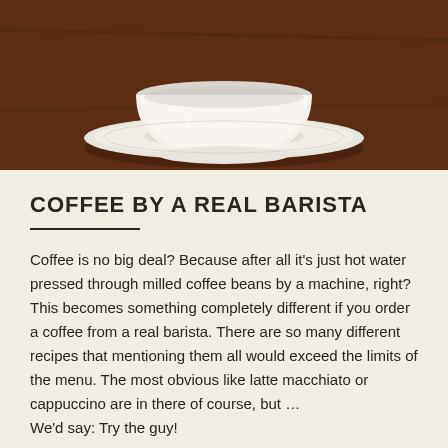[Figure (photo): A white ceramic coffee cup and saucer on a dark wooden table, viewed from above/side angle, showing the bottom portion of the cup.]
COFFEE BY A REAL BARISTA
Coffee is no big deal? Because after all it's just hot water pressed through milled coffee beans by a machine, right? This becomes something completely different if you order a coffee from a real barista. There are so many different recipes that mentioning them all would exceed the limits of the menu. The most obvious like latte macchiato or cappuccino are in there of course, but … We'd say: Try the guy!